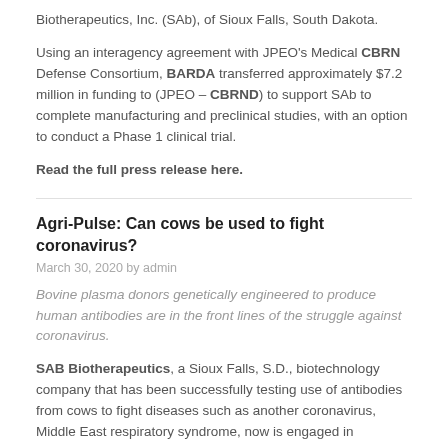Biotherapeutics, Inc. (SAb), of Sioux Falls, South Dakota.
Using an interagency agreement with JPEO's Medical CBRN Defense Consortium, BARDA transferred approximately $7.2 million in funding to (JPEO – CBRND) to support SAb to complete manufacturing and preclinical studies, with an option to conduct a Phase 1 clinical trial.
Read the full press release here.
Agri-Pulse: Can cows be used to fight coronavirus?
March 30, 2020 by admin
Bovine plasma donors genetically engineered to produce human antibodies are in the front lines of the struggle against coronavirus.
SAB Biotherapeutics, a Sioux Falls, S.D., biotechnology company that has been successfully testing use of antibodies from cows to fight diseases such as another coronavirus, Middle East respiratory syndrome, now is engaged in developing a treatment for COVID-19, the disease caused by the